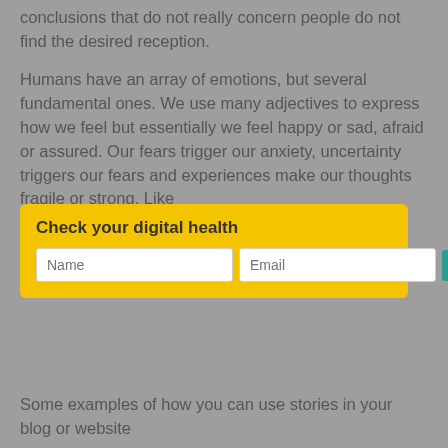conclusions that do not really concern people do not find the desired reception.
Humans have an array of emotions, but several fundamental ones. We use many adjectives to express how we feel but essentially we feel happy or sad, afraid or assured. Our fears trigger our anxiety, uncertainty triggers our fears and experiences make our thoughts fragile or strong. Like stories touching on our emotions, touching stories can put people out of tune. These type of stories touch on our basic emotions and inspire a reaction.
[Figure (screenshot): Yellow popup overlay with title 'Check your digital health', two input fields labeled 'Name' and 'Email', and a teal button labeled 'Take my pulse!']
Some examples of how you can use stories in your blog or website
Interviews
Case Studies
Your About you page